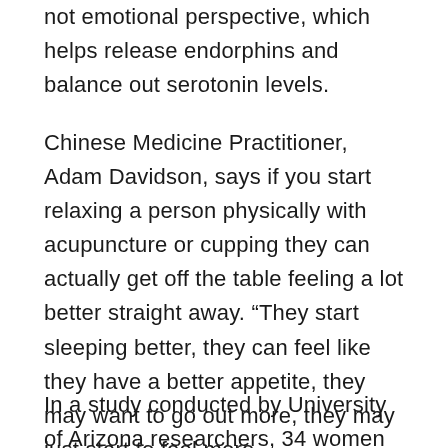not emotional perspective, which helps release endorphins and balance out serotonin levels.
Chinese Medicine Practitioner, Adam Davidson, says if you start relaxing a person physically with acupuncture or cupping they can actually get off the table feeling a lot better straight away. “They start sleeping better, they can feel like they have a better appetite, they may want to go out more, they may just start to feel more communicative, almost immediately.”
In a study conducted by University of Arizona researchers, 34 women suffering from major